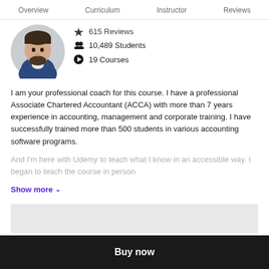Overview   Curriculum   Instructor   Reviews
[Figure (photo): Circular profile photo of a man with a beard wearing a dark blue denim shirt over a white t-shirt]
615 Reviews
10,489 Students
19 Courses
I am your professional coach for this course. I have a professional Associate Chartered Accountant (ACCA) with more than 7 years experience in accounting, management and corporate training. I have successfully trained more than 500 students in various accounting software programs.
And I'm here with Udemy to teach what I know in an accessible way. I began to teach the course in person
Show more
Buy now